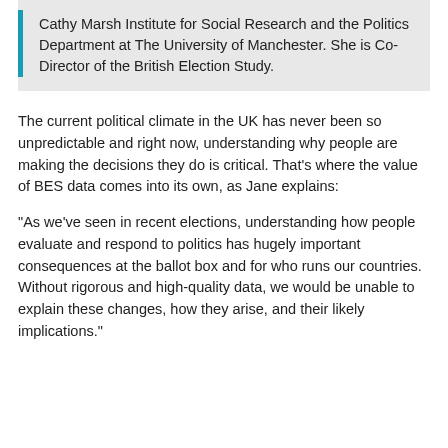Cathy Marsh Institute for Social Research and the Politics Department at The University of Manchester. She is Co-Director of the British Election Study.
The current political climate in the UK has never been so unpredictable and right now, understanding why people are making the decisions they do is critical. That’s where the value of BES data comes into its own, as Jane explains:
“As we’ve seen in recent elections, understanding how people evaluate and respond to politics has hugely important consequences at the ballot box and for who runs our countries. Without rigorous and high-quality data, we would be unable to explain these changes, how they arise, and their likely implications.”